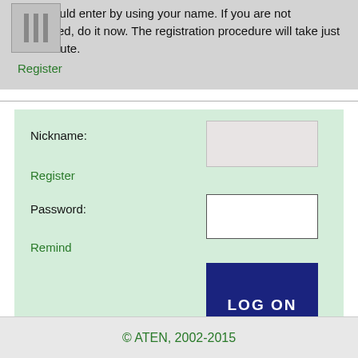you should enter by using your name. If you are not registered, do it now. The registration procedure will take just one minute.
Register
Nickname:
Register
Password:
Remind
[Figure (screenshot): LOG ON button - dark navy blue rectangular button with white bold text 'LOG ON']
© ATEN, 2002-2015